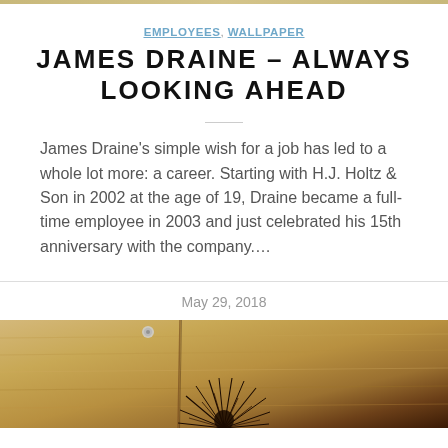EMPLOYEES, WALLPAPER
JAMES DRAINE – ALWAYS LOOKING AHEAD
James Draine's simple wish for a job has led to a whole lot more: a career. Starting with H.J. Holtz & Son in 2002 at the age of 19, Draine became a full-time employee in 2003 and just celebrated his 15th anniversary with the company....
May 29, 2018
[Figure (photo): Close-up overhead photo of light wood flooring or wood surface panels with grain lines, featuring a small dark spiky plant or air plant visible at the bottom center, and a small round metal fastener visible at the top.]